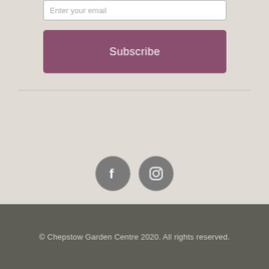[Figure (screenshot): Email input field with placeholder text 'Enter your email']
Subscribe
[Figure (other): Two social media icon circles: Facebook and Instagram]
© Chepstow Garden Centre 2020. All rights reserved.